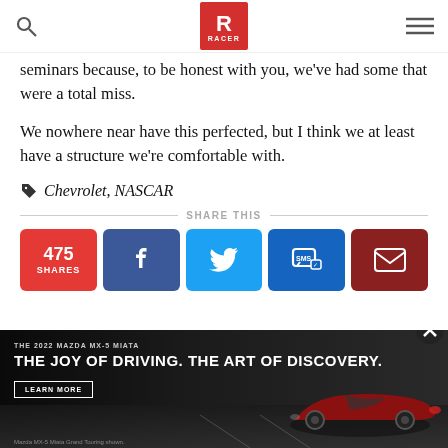RACER
seminars because, to be honest with you, we've had some that were a total miss.
We nowhere near have this perfected, but I think we at least have a structure we're comfortable with.
Chevrolet, NASCAR
SHARE THIS
[Figure (infographic): Share buttons row: 475 SHARES (red), Facebook (dark blue), Twitter (light blue), SMS (blue), Email (dark red)]
[Figure (photo): Advertisement for 2022 Mazda MX-5 Miata. Dark background with red Mazda convertible. Text: THE 2022 MAZDA MX-5 MIATA. THE JOY OF DRIVING. THE ART OF DISCOVERY. LEARN MORE button. Caption: Mazda MX-5 Miata Grand Touring shown.]